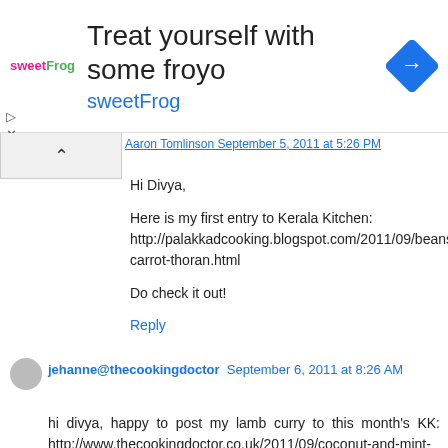[Figure (other): SweetFrog advertisement banner with logo, text 'Treat yourself with some froyo', 'sweetFrog', and a blue diamond navigation icon]
Hi Divya,

Here is my first entry to Kerala Kitchen: http://palakkadcooking.blogspot.com/2011/09/beans-carrot-thoran.html

Do check it out!
Reply
jehanne@thecookingdoctor September 6, 2011 at 8:26 AM
hi divya, happy to post my lamb curry to this month's KK: http://www.thecookingdoctor.co.uk/2011/09/coconut-and-mint-lamb-curry.html
Reply